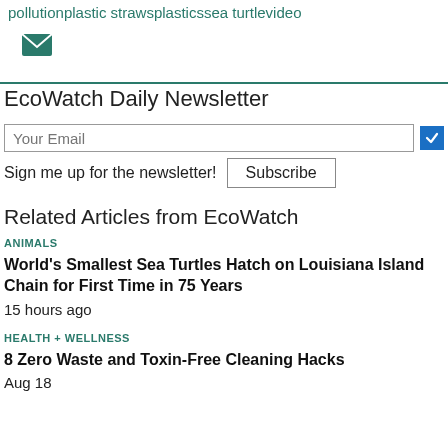pollutionplastic strawsplasticssea turtlevideo
[Figure (other): Teal envelope/email icon]
EcoWatch Daily Newsletter
Your Email
Sign me up for the newsletter! Subscribe
Related Articles from EcoWatch
ANIMALS
World's Smallest Sea Turtles Hatch on Louisiana Island Chain for First Time in 75 Years
15 hours ago
HEALTH + WELLNESS
8 Zero Waste and Toxin-Free Cleaning Hacks
Aug 18